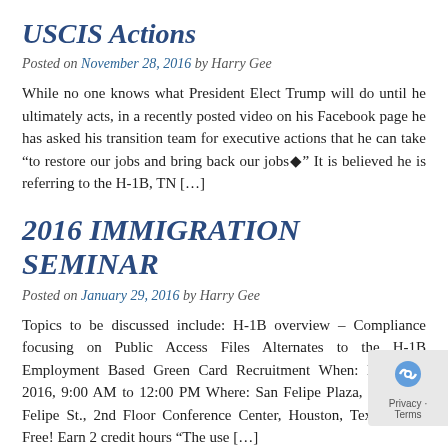USCIS Actions
Posted on November 28, 2016 by Harry Gee
While no one knows what President Elect Trump will do until he ultimately acts, in a recently posted video on his Facebook page he has asked his transition team for executive actions that he can take “to restore our jobs and bring back our jobs�” It is believed he is referring to the H-1B, TN […]
2016 IMMIGRATION SEMINAR
Posted on January 29, 2016 by Harry Gee
Topics to be discussed include: H-1B overview – Compliance focusing on Public Access Files Alternates to the H-1B Employment Based Green Card Recruitment When: March 3, 2016, 9:00 AM to 12:00 PM Where: San Felipe Plaza, 5847 San Felipe St., 2nd Floor Conference Center, Houston, Texas Price: Free! Earn 2 credit hours “The use […]